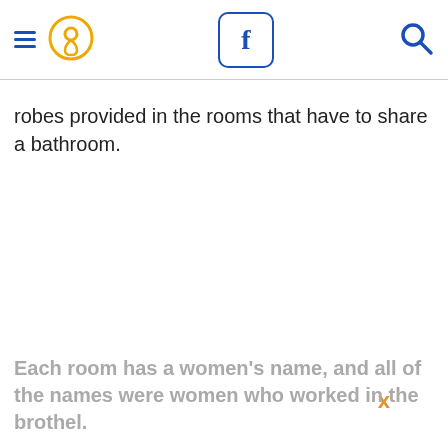robes provided in the rooms that have to share a bathroom.
x
Each room has a women's name, and all of the names were women who worked in the brothel.